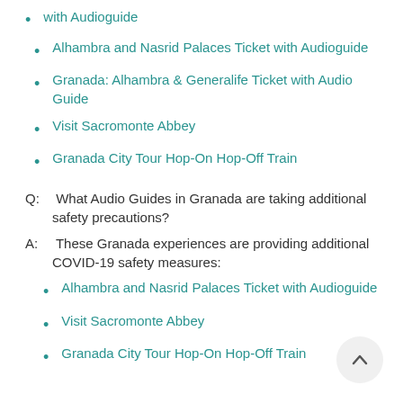with Audioguide
Alhambra and Nasrid Palaces Ticket with Audioguide
Granada: Alhambra & Generalife Ticket with Audio Guide
Visit Sacromonte Abbey
Granada City Tour Hop-On Hop-Off Train
Q:  What Audio Guides in Granada are taking additional safety precautions?
A:  These Granada experiences are providing additional COVID-19 safety measures:
Alhambra and Nasrid Palaces Ticket with Audioguide
Visit Sacromonte Abbey
Granada City Tour Hop-On Hop-Off Train